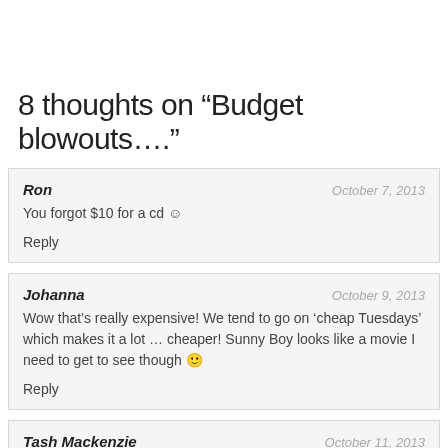8 thoughts on “Budget blowouts….”
Ron
October 7, 2013
You forgot $10 for a cd ☺
Reply
Johanna
October 9, 2013
Wow that’s really expensive! We tend to go on ‘cheap Tuesdays’ which makes it a lot … cheaper! Sunny Boy looks like a movie I need to get to see though 🙂
Reply
Tash Mackenzie
October 11, 2013